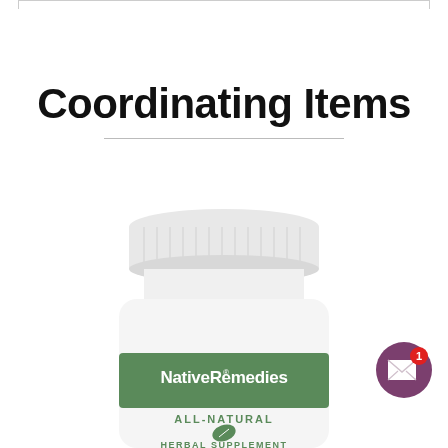Coordinating Items
[Figure (photo): NativeRemedies supplement bottle with white cap, green label band reading 'NativeRemedies' and 'ALL-NATURAL' with a leaf logo, partially cropped at the bottom]
[Figure (illustration): Circular purple notification badge with an envelope icon and red badge showing the number 1]